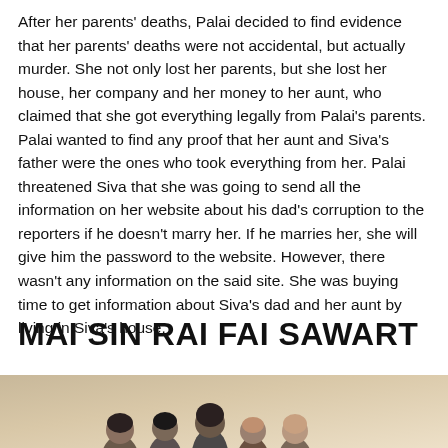After her parents' deaths, Palai decided to find evidence that her parents' deaths were not accidental, but actually murder. She not only lost her parents, but she lost her house, her company and her money to her aunt, who claimed that she got everything legally from Palai's parents. Palai wanted to find any proof that her aunt and Siva's father were the ones who took everything from her. Palai threatened Siva that she was going to send all the information on her website about his dad's corruption to the reporters if he doesn't marry her. If he marries her, she will give him the password to the website. However, there wasn't any information on the said site. She was buying time to get information about Siva's dad and her aunt by living in Siva's house.
MAI SIN RAI FAI SAWART
[Figure (photo): Group photo of actors/cast members from the Thai drama 'Mai Sin Rai Fai Sawart', showing multiple people posing together against a warm beige/tan background.]